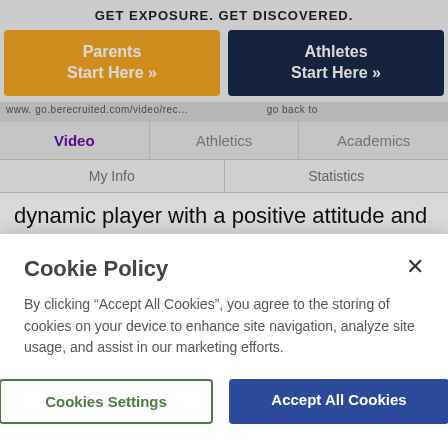GET EXPOSURE. GET DISCOVERED.
[Figure (screenshot): Two call-to-action buttons: orange 'Parents Start Here »' and navy 'Athletes Start Here »']
www.go.berecruited.com/video/...
Video | Athletics | Academics
My Info | Statistics
dynamic player with a positive attitude and be a great influence on the team.  As I continue to grow both physically and mentally throughout my college baseball career, I will strive to be the best teammate and an asset to the infield, batting lineup and pitching rotation.   Most importantly,  I
Cookie Policy
By clicking “Accept All Cookies”, you agree to the storing of cookies on your device to enhance site navigation, analyze site usage, and assist in our marketing efforts.
Cookies Settings | Accept All Cookies